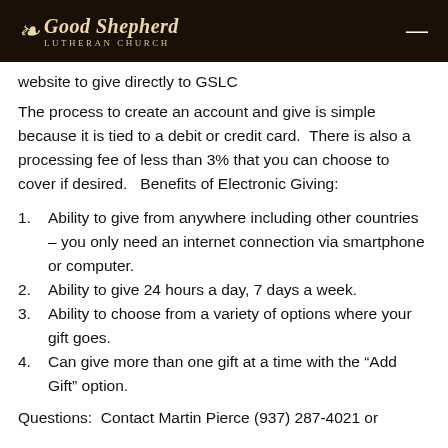Good Shepherd Lutheran Church
website to give directly to GSLC
The process to create an account and give is simple because it is tied to a debit or credit card.  There is also a processing fee of less than 3% that you can choose to cover if desired.   Benefits of Electronic Giving:
1.    Ability to give from anywhere including other countries – you only need an internet connection via smartphone or computer.
2.    Ability to give 24 hours a day, 7 days a week.
3.    Ability to choose from a variety of options where your gift goes.
4.    Can give more than one gift at a time with the “Add Gift” option.
Questions:  Contact Martin Pierce (937) 287-4021 or